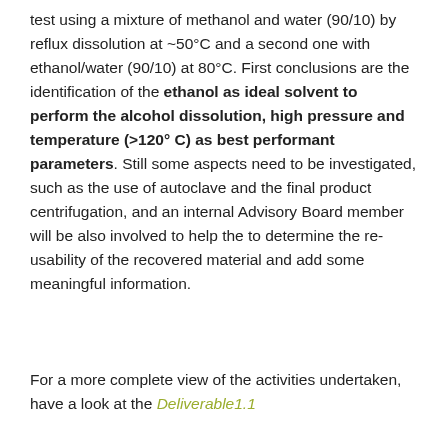test using a mixture of methanol and water (90/10) by reflux dissolution at ~50°C and a second one with ethanol/water (90/10) at 80°C. First conclusions are the identification of the ethanol as ideal solvent to perform the alcohol dissolution, high pressure and temperature (>120° C) as best performant parameters. Still some aspects need to be investigated, such as the use of autoclave and the final product centrifugation, and an internal Advisory Board member will be also involved to help the to determine the re-usability of the recovered material and add some meaningful information.
For a more complete view of the activities undertaken, have a look at the Deliverable1.1